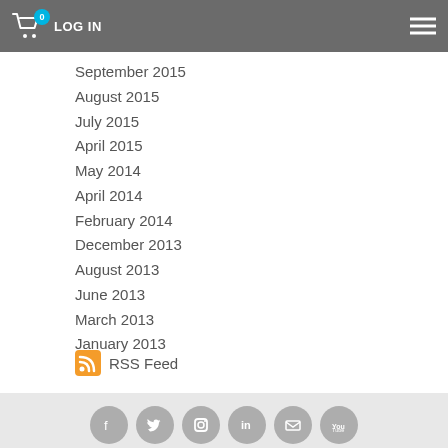LOG IN  [0]  ☰
September 2015
August 2015
July 2015
April 2015
May 2014
April 2014
February 2014
December 2013
August 2013
June 2013
March 2013
January 2013
RSS Feed
FIND OUT MORE  ENQUIRE